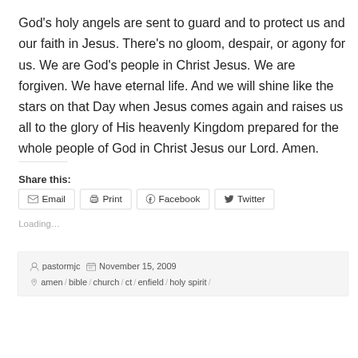God's holy angels are sent to guard and to protect us and our faith in Jesus. There's no gloom, despair, or agony for us. We are God's people in Christ Jesus. We are forgiven. We have eternal life. And we will shine like the stars on that Day when Jesus comes again and raises us all to the glory of His heavenly Kingdom prepared for the whole people of God in Christ Jesus our Lord. Amen.
Share this:
[Figure (other): Share buttons: Email, Print, Facebook, Twitter]
Loading...
pastormjc  November 15, 2009
amen / bible / church / ct / enfield / holy spirit /